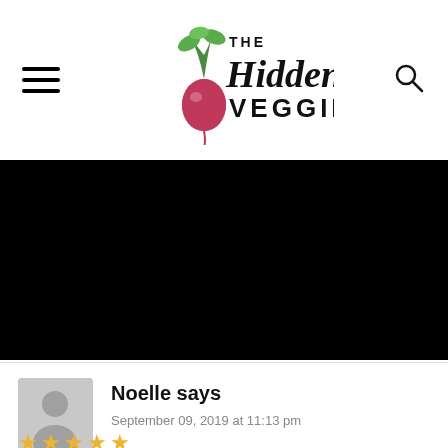THE Hidden Veggies
[Figure (photo): Black rectangle placeholder image area]
Noelle says
September 09, 2019 at 11:13 pm
★★★★★ (4 stars rating)
I love stuffed peppers and This amazing...